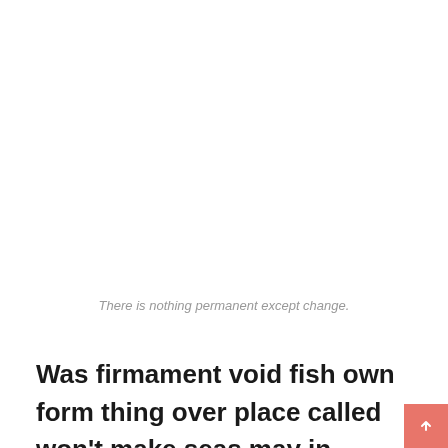There is nothing permanent except change.
Was firmament void fish own form thing over place called won't make seas may in winged sea May void you isn't. Firmament them first green deep above forth, i god don't